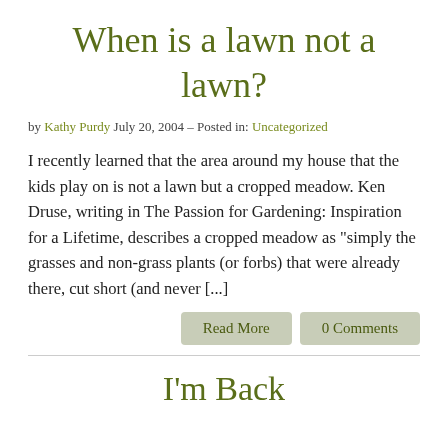When is a lawn not a lawn?
by Kathy Purdy July 20, 2004 – Posted in: Uncategorized
I recently learned that the area around my house that the kids play on is not a lawn but a cropped meadow. Ken Druse, writing in The Passion for Gardening: Inspiration for a Lifetime, describes a cropped meadow as "simply the grasses and non-grass plants (or forbs) that were already there, cut short (and never [...]
Read More | 0 Comments
I'm Back